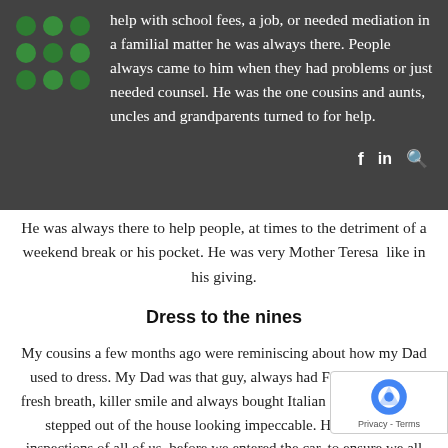help with school fees, a job, or needed mediation in a familial matter he was always there. People always came to him when they had problems or just needed counsel. He was the one cousins and aunts, uncles and grandparents turned to for help.
He was always there to help people, at times to the detriment of a weekend break or his pocket. He was very Mother Teresa like in his giving.
Dress to the nines
My cousins a few months ago were reminiscing about how my Dad used to dress. My Dad was that guy, always had French cologne, fresh breath, killer smile and always bought Italian suits. He always stepped out of the house looking impeccable. He would run inspections of all of us, before we entered the car, to ensure we all looked sharp for school. My eyebrows are in great condition because my Dad would press them down super firmly on my face and iron them out with his fingers. My cousin summed it up well, my Dad always looked like he emerged from a GQ magazine. He was really big on looking great.